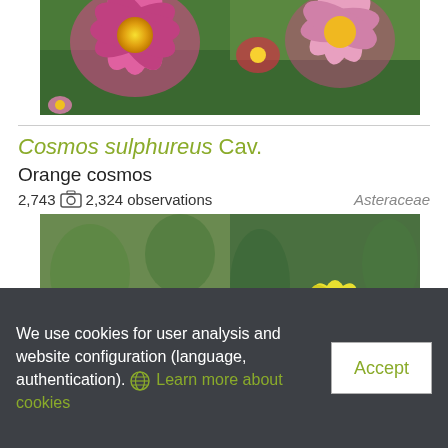[Figure (photo): Two photos of pink Cosmos flowers cropped at top of page]
Cosmos sulphureus Cav.
Orange cosmos
2,743 [camera icon] 2,324 observations    Asteraceae
[Figure (photo): Two photos of orange and yellow Cosmos sulphureus flowers]
We use cookies for user analysis and website configuration (language, authentication). Learn more about cookies